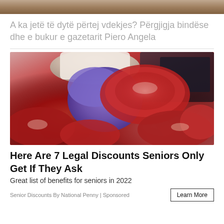[Figure (photo): Top strip image, partial view of a scene above the article title]
A ka jetë të dytë përtej vdekjes? Përgjigja bindëse dhe e bukur e gazetarit Piero Angela
[Figure (photo): A person wearing blue gloves handles raw red meat in a butcher's display case]
Here Are 7 Legal Discounts Seniors Only Get If They Ask
Great list of benefits for seniors in 2022
Senior Discounts By National Penny | Sponsored